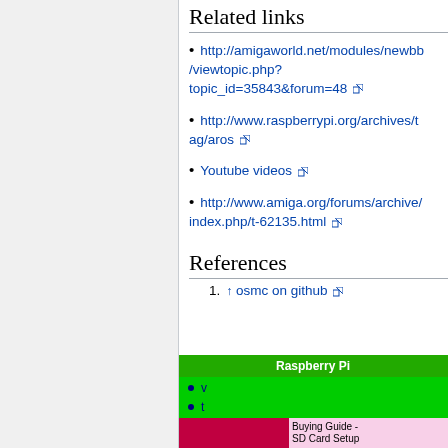Related links
http://amigaworld.net/modules/newbb/viewtopic.php?topic_id=35843&forum=48
http://www.raspberrypi.org/archives/tag/aros
Youtube videos
http://www.amiga.org/forums/archive/index.php/t-62135.html
References
↑ osmc on github
[Figure (infographic): Raspberry Pi navbox with green header and bullet items v, t, e, with red and pink bottom sections showing Buying Guide - SD Card Setup - Basic Setup -]